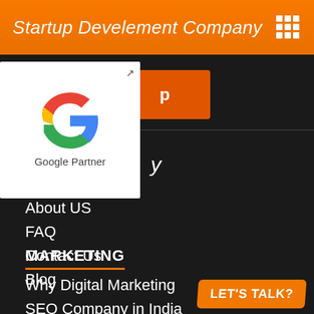Startup Develement Company
[Figure (logo): Google Partner badge with Google G logo and text 'Google Partner']
Home
About US
FAQ
Contact Us
Blog
MARKETING
Why Digital Marketing
SEO Company in India
LET'S TALK?